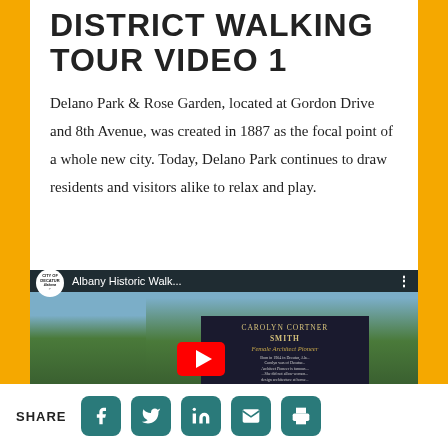DISTRICT WALKING TOUR VIDEO 1
Delano Park & Rose Garden, located at Gordon Drive and 8th Avenue, was created in 1887 as the focal point of a whole new city. Today, Delano Park continues to draw residents and visitors alike to relax and play.
[Figure (screenshot): YouTube video thumbnail showing 'Albany Historic Walk...' with Decatur Alabama city logo, and a historical marker for Carolyn Cortner Smith, Female Architect Pioneer, with trees in background and YouTube play button overlay]
SHARE [Facebook] [Twitter] [LinkedIn] [Email] [Print]